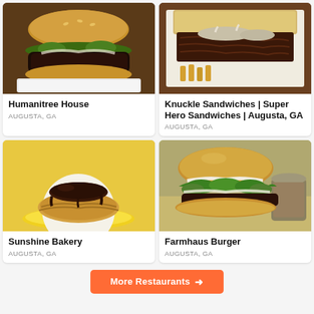[Figure (photo): Close-up photo of a burger from Humanitree House, with a dark patty, lettuce, and white sauce on a sesame bun, in a white container]
Humanitree House
AUGUSTA, GA
[Figure (photo): Close-up photo of a pulled meat sandwich with blue cheese or white sauce from Knuckle Sandwiches, on white wrapping paper]
Knuckle Sandwiches | Super Hero Sandwiches | Augusta, GA
AUGUSTA, GA
[Figure (photo): Close-up photo of a pastry/croissant-style sandwich with dark chocolate or BBQ sauce on top, from Sunshine Bakery, on a yellow plate]
Sunshine Bakery
AUGUSTA, GA
[Figure (photo): Close-up photo of a burger from Farmhaus Burger with curly green lettuce, white sauce, on a golden bun, with a dipping sauce in background]
Farmhaus Burger
AUGUSTA, GA
More Restaurants →